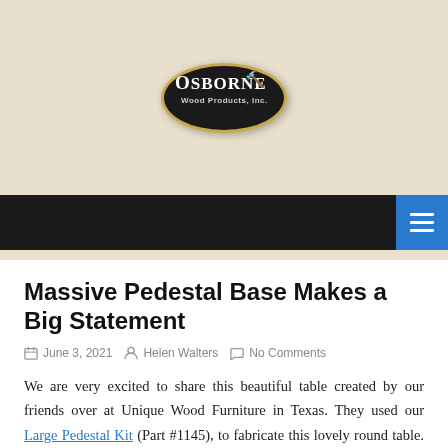Osborne Wood Products, Inc.
Massive Pedestal Base Makes a Big Statement
June 3, 2021   Helen Walters   No Comments
We are very excited to share this beautiful table created by our friends over at Unique Wood Furniture in Texas. They used our Large Pedestal Kit (Part #1145), to fabricate this lovely round table. They painted it a solid black, which coordinates perfectly with the black and